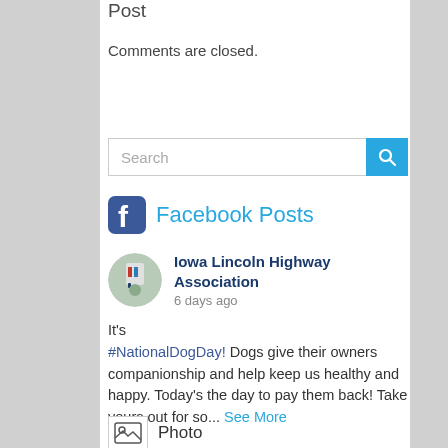Post
Comments are closed.
Search
Facebook Posts
Iowa Lincoln Highway Association
6 days ago
It's #NationalDogDay! Dogs give their owners companionship and help keep us healthy and happy. Today's the day to pay them back! Take yours out for so... See More
Photo